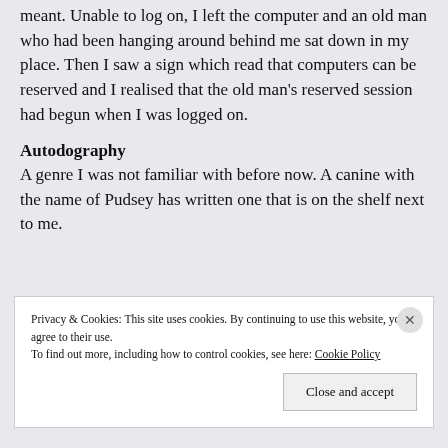meant. Unable to log on, I left the computer and an old man who had been hanging around behind me sat down in my place. Then I saw a sign which read that computers can be reserved and I realised that the old man's reserved session had begun when I was logged on.
Autodography
A genre I was not familiar with before now. A canine with the name of Pudsey has written one that is on the shelf next to me.
Privacy & Cookies: This site uses cookies. By continuing to use this website, you agree to their use.
To find out more, including how to control cookies, see here: Cookie Policy
Close and accept